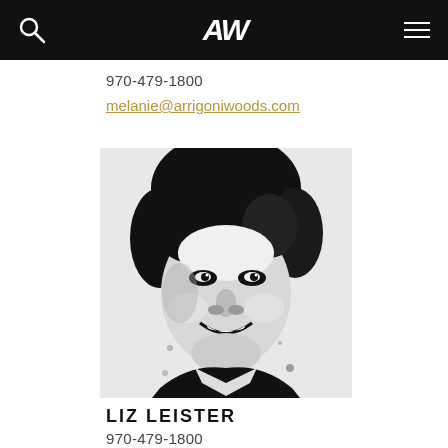AW [navigation bar with logo, search icon, and menu icon]
970-479-1800
melanie@arrigoniwoods.com
[Figure (photo): Black and white high-contrast portrait photo of a smiling woman with dark hair pulled back, looking slightly to the side]
LIZ LEISTER
970-479-1800